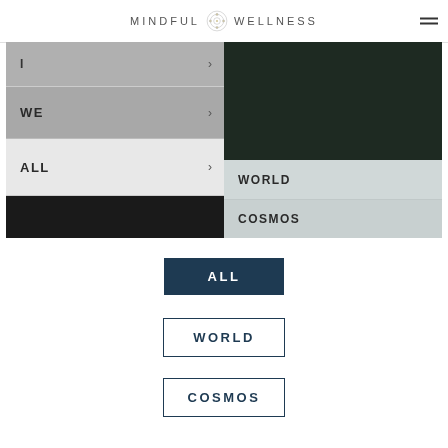MINDFUL WELLNESS
[Figure (screenshot): Screenshot of a mobile navigation menu showing rows labeled WE, ALL on the left column and WORLD, COSMOS as submenu items on the right column, against a dark background.]
ALL
WORLD
COSMOS